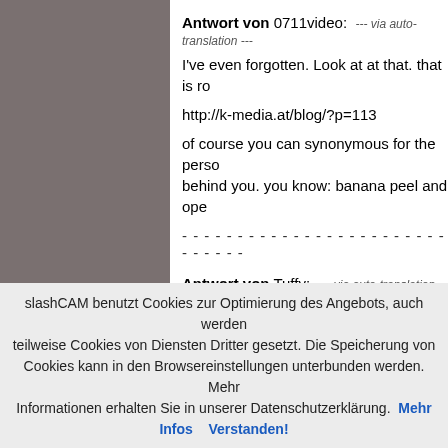[Figure (photo): Grey/brown colored left panel sidebar image]
Antwort von 0711video: --- via auto-translation ---
I've even forgotten. Look at at that. that is ro
http://k-media.at/blog/?p=113
of course you can synonymous for the perso behind you. you know: banana peel and ope
- - - - - - - - - - - - - - - - - - - - - - - - - - - - - - - - - -
Antwort von Tuffy: --- via auto-translation ---
Quote:
17mm x 1.5 = 25.5 mm
27.2. The crop factor in Canon's APS-C is c I do not want clever shit brainless, but the in
slashCAM benutzt Cookies zur Optimierung des Angebots, auch werden teilweise Cookies von Diensten Dritter gesetzt. Die Speicherung von Cookies kann in den Browsereinstellungen unterbunden werden. Mehr Informationen erhalten Sie in unserer Datenschutzerklärung. Mehr Infos Verstanden!